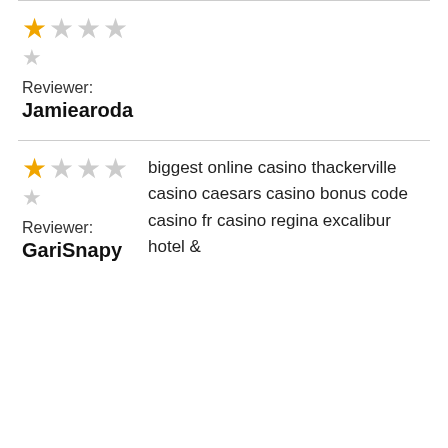[Figure (other): Star rating: 1 out of 4 stars (first row), 1 out of 1 star (second row)]
Reviewer:
Jamiearoda
[Figure (other): Star rating: 1 out of 4 stars (first row), 1 out of 1 star (second row)]
Reviewer:
GariSnapy
biggest online casino thackerville casino caesars casino bonus code casino fr casino regina excalibur hotel &